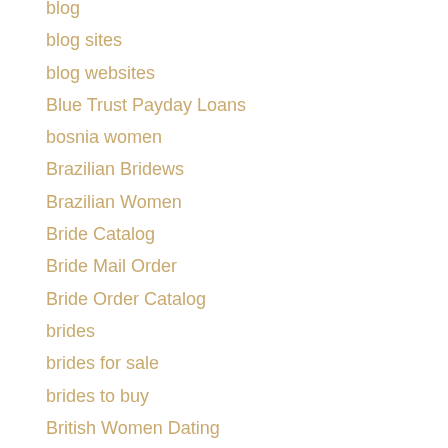blog
blog sites
blog websites
Blue Trust Payday Loans
bosnia women
Brazilian Bridews
Brazilian Women
Bride Catalog
Bride Mail Order
Bride Order Catalog
brides
brides for sale
brides to buy
British Women Dating
Broad Spectrum Cbd Vape Oil